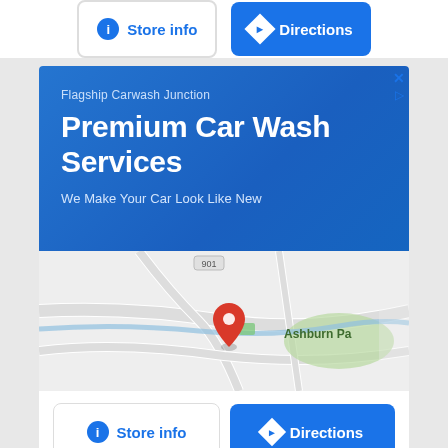[Figure (screenshot): Top bar with Store info and Directions buttons on white background]
[Figure (screenshot): Advertisement card for Flagship Carwash Junction - Premium Car Wash Services with map showing Ashburn Pa location and Store info / Directions buttons]
[Figure (screenshot): Bottom gray area with X close button]